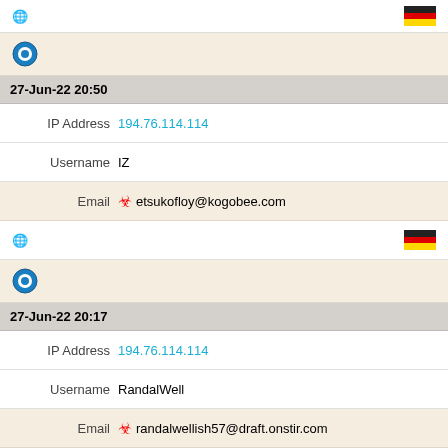| [globe icon] |  | [germany flag] |
| [tor icon] |  |  |
| 27-Jun-22 20:50 |  |  |
| IP Address | 194.76.114.114 |  |
| Username | IZ |  |
| Email | [biohazard] etsukofloy@kogobee.com |  |
| [globe icon] |  | [germany flag] |
| [tor icon] |  |  |
| 27-Jun-22 20:17 |  |  |
| IP Address | 194.76.114.114 |  |
| Username | RandalWell |  |
| Email | [biohazard] randalwellish57@draft.onstir.com |  |
| [globe icon] |  | [germany flag] |
| [tor icon] |  |  |
| 27-Jun-22 19:24 |  |  |
| IP Address | 194.76.114.114 |  |
| Username | AD |  |